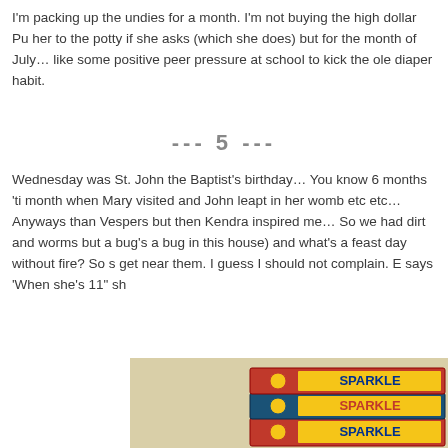I'm packing up the undies for a month. I'm not buying the high dollar Pu her to the potty if she asks (which she does) but for the month of July… like some positive peer pressure at school to kick the ole diaper habit.
--- 5 ---
Wednesday was St. John the Baptist's birthday… You know 6 months 'ti month when Mary visited and John leapt in her womb etc etc… Anyways than Vespers but then Kendra inspired me… So we had dirt and worms but a bug's a bug in this house) and what's a feast day without fire? So s get near them. I guess I should not complain. E says 'When she's 11" sh
[Figure (photo): Photo of three stacked boxes of SPARKLERS on a beige/tan surface]